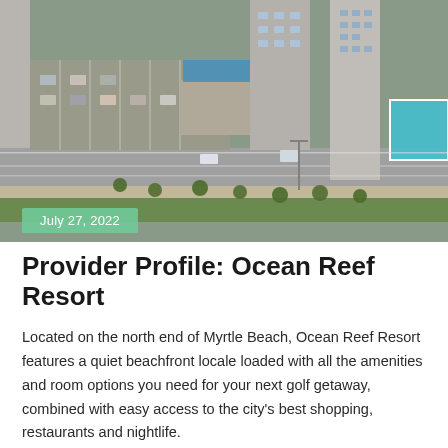[Figure (photo): Aerial view of Ocean Reef Resort area showing hotel buildings, parking lots, a road with palm trees, and a pool area visible on the right side in Myrtle Beach.]
July 27, 2022
Provider Profile: Ocean Reef Resort
Located on the north end of Myrtle Beach, Ocean Reef Resort features a quiet beachfront locale loaded with all the amenities and room options you need for your next golf getaway, combined with easy access to the city's best shopping, restaurants and nightlife.
Read More